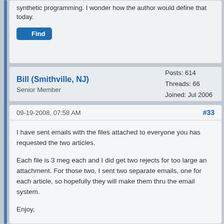synthetic programming. I wonder how the author would define that today.
Find
Bill (Smithville, NJ)
Senior Member
Posts: 614
Threads: 66
Joined: Jul 2006
09-19-2008, 07:58 AM
#33
I have sent emails with the files attached to everyone you has requested the two articles.
Each file is 3 meg each and I did get two rejects for too large an attachment. For those two, I sent two separate emails, one for each article, so hopefully they will make them thru the email system.
Enjoy,
Bill
Smithville, NJ